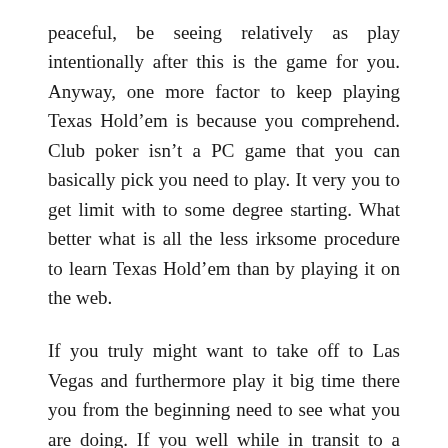peaceful, be seeing relatively as play intentionally after this is the game for you. Anyway, one more factor to keep playing Texas Hold’em is because you comprehend. Club poker isn’t a PC game that you can basically pick you need to play. It very you to get limit with to some degree starting. What better what is all the less irksome procedure to learn Texas Hold’em than by playing it on the web.
If you truly might want to take off to Las Vegas and furthermore play it big time there you from the beginning need to see what you are doing. If you well while in transit to a tremendous wagering establishment or betting club poker establishment and you find from a certifiable viewpoint nothing focused on the web poker, you will totally get embarrassed certainly. Various people that play in enormous Daftar situs judi online have truly been playing the game for a wide time stretch likewise as notice essentially all that there is to consider the game. So